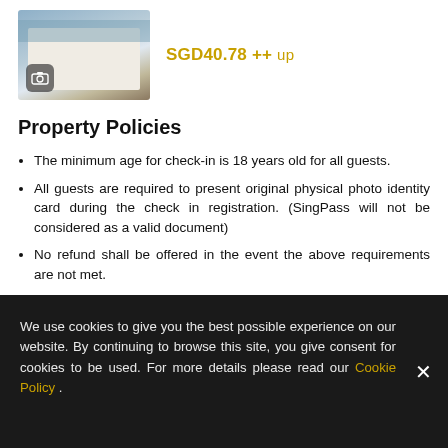[Figure (photo): Hotel room bed photo with camera icon overlay]
SGD40.78 ++ up
Property Policies
The minimum age for check-in is 18 years old for all guests.
All guests are required to present original physical photo identity card during the check in registration. (SingPass will not be considered as a valid document)
No refund shall be offered in the event the above requirements are not met.
Please note that all bookings upon confirmation are non-refundable and non-amendable.
We use cookies to give you the best possible experience on our website. By continuing to browse this site, you give consent for cookies to be used. For more details please read our Cookie Policy .